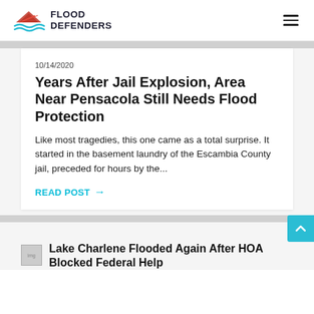FLOOD DEFENDERS
10/14/2020
Years After Jail Explosion, Area Near Pensacola Still Needs Flood Protection
Like most tragedies, this one came as a total surprise. It started in the basement laundry of the Escambia County jail, preceded for hours by the...
READ POST →
Lake Charlene Flooded Again After HOA Blocked Federal Help